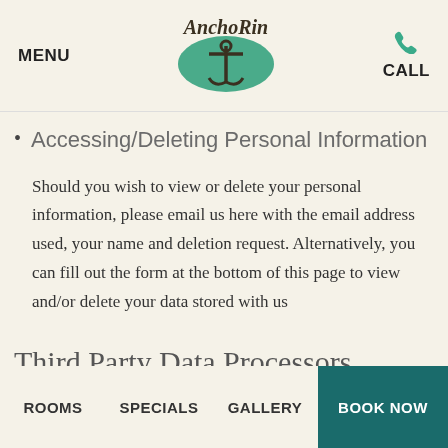MENU | Anchor In (logo) | CALL
Accessing/Deleting Personal Information
Should you wish to view or delete your personal information, please email us here with the email address used, your name and deletion request. Alternatively, you can fill out the form at the bottom of this page to view and/or delete your data stored with us
Third Party Data Processors
We use a number of third parties to process personal data on our behalf. These third parties have been carefully
ROOMS | SPECIALS | GALLERY | BOOK NOW